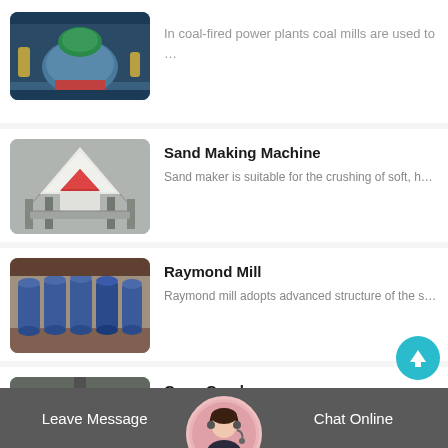[Figure (photo): Coal mill industrial machinery in a factory, partially visible at top]
In coal-fired power plants coal mills are used to …
[Figure (photo): Sand Making Machine — white cone crusher machine in a factory]
Sand Making Machine
Sand maker is suitable for the crushing of soft, h…
[Figure (photo): Raymond Mill — blue industrial mill machines lined up in a factory]
Raymond Mill
Raymond mill adopts advanced structure of the s…
[Figure (photo): Cone Crusher — red and grey cone crusher machinery]
Cone Crusher
Hongxing cone crusher is used for crushing …
Leave Message   Chat Online